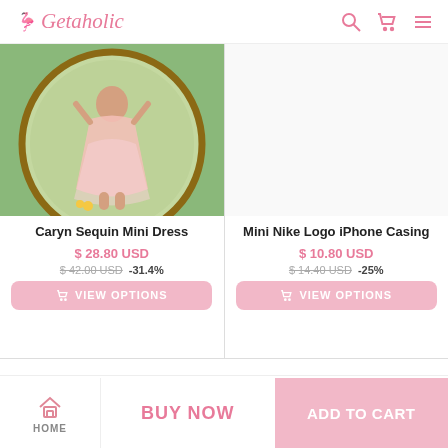Getaholic
[Figure (photo): Fashion photo of a woman wearing a pink sequin mini dress, outdoors with greenery in background, standing in front of a round mirror]
Caryn Sequin Mini Dress
$ 28.80 USD
$ 42.00 USD  -31.4%
VIEW OPTIONS
[Figure (photo): Product placeholder area for Mini Nike Logo iPhone Casing (no image shown)]
Mini Nike Logo iPhone Casing
$ 10.80 USD
$ 14.40 USD  -25%
VIEW OPTIONS
HOME   BUY NOW   ADD TO CART